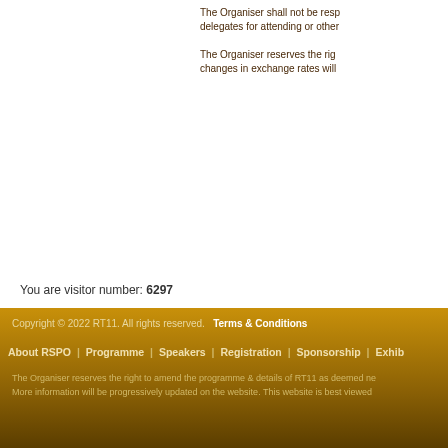The Organiser shall not be responsible to delegates for attending or other
The Organiser reserves the right changes in exchange rates will
You are visitor number: 6297
Copyright © 2022 RT11. All rights reserved.  Terms & Conditions
About RSPO  |  Programme  |  Speakers  |  Registration  |  Sponsorship  |  Exhib
The Organiser reserves the right to amend the programme & details of RT11 as deemed ne More information will be progressively updated on the website. This website is best viewed